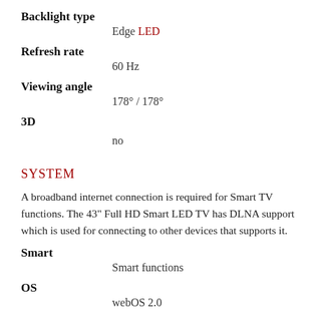Backlight type
Edge LED
Refresh rate
60 Hz
Viewing angle
178° / 178°
3D
no
SYSTEM
A broadband internet connection is required for Smart TV functions. The 43" Full HD Smart LED TV has DLNA support which is used for connecting to other devices that supports it.
Smart
Smart functions
OS
webOS 2.0